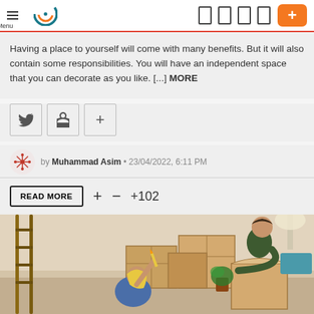Menu [logo] [nav icons] [+ button]
Having a place to yourself will come with many benefits. But it will also contain some responsibilities. You will have an independent space that you can decorate as you like. [...] MORE
[twitter icon] [pinterest icon] [+ icon]
by Muhammad Asim • 23/04/2022, 6:11 PM
READ MORE + − +102
[Figure (photo): A couple unpacking cardboard moving boxes in a new home. A man in a dark green shirt opens a box while a woman with blonde hair sits on the floor looking up, surrounded by many cardboard boxes.]